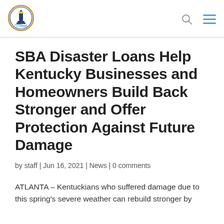[Figure (logo): Circular logo with lighthouse and gold/navy border — organization seal]
SBA Disaster Loans Help Kentucky Businesses and Homeowners Build Back Stronger and Offer Protection Against Future Damage
by staff | Jun 16, 2021 | News | 0 comments
ATLANTA – Kentuckians who suffered damage due to this spring's severe weather can rebuild stronger by